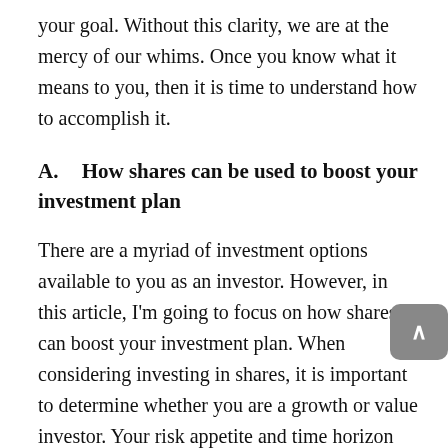your goal. Without this clarity, we are at the mercy of our whims. Once you know what it means to you, then it is time to understand how to accomplish it.
A.    How shares can be used to boost your investment plan
There are a myriad of investment options available to you as an investor. However, in this article, I'm going to focus on how shares can boost your investment plan. When considering investing in shares, it is important to determine whether you are a growth or value investor. Your risk appetite and time horizon influence this decision. The question of whether a growth or a value stock investment strategy is better for you should be evaluated in the context of your time